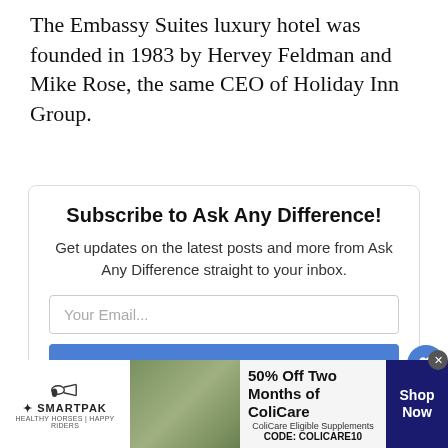The Embassy Suites luxury hotel was founded in 1983 by Hervey Feldman and Mike Rose, the same CEO of Holiday Inn Group.
[Figure (screenshot): Email subscription widget with title 'Subscribe to Ask Any Difference!', description text, email input field, SUBSCRIBE button, and consent checkbox. Side icons include a heart button with count 1 and a share button. A 'What's Next' overlay shows a donut chart and text 'Difference Between...']
[Figure (screenshot): Advertisement banner for SmartPak featuring '50% Off Two Months of ColiCare', ColiCare Eligible Supplements, CODE: COLICARE10, with a Shop Now button.]